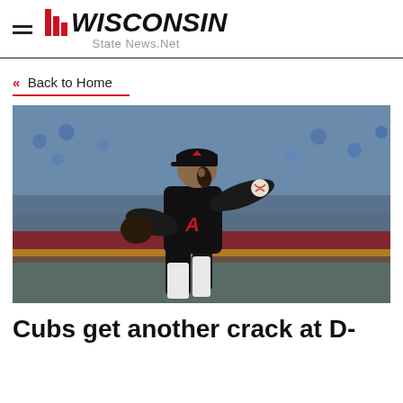Wisconsin State News.Net
« Back to Home
[Figure (photo): A baseball pitcher in a black Arizona Diamondbacks uniform winding up to throw, with a crowd in the background]
Cubs get another crack at D-